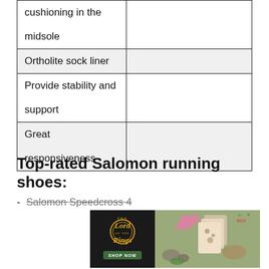| Feature |  |
| --- | --- |
| cushioning in the midsole |  |
| Ortholite sock liner |  |
| Provide stability and support |  |
| Great responsiveness |  |
Top-rated Salomon running shoes:
Salomon Speedcross 4
[Figure (other): Advertisement banner for Lord of the Rings themed product with 'SHOP NOW' button and decorative imagery]